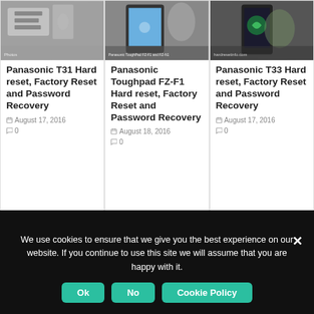[Figure (photo): Card 1 thumbnail - hands holding SIM cards]
Panasonic T31 Hard reset, Factory Reset and Password Recovery
August 17, 2016
0
[Figure (photo): Card 2 thumbnail - hands using Panasonic Toughpad FZ-F1]
Panasonic Toughpad FZ-F1 Hard reset, Factory Reset and Password Recovery
August 18, 2016
0
[Figure (photo): Card 3 thumbnail - hand holding Android phone]
Panasonic T33 Hard reset, Factory Reset and Password Recovery
August 17, 2016
0
We use cookies to ensure that we give you the best experience on our website. If you continue to use this site we will assume that you are happy with it.